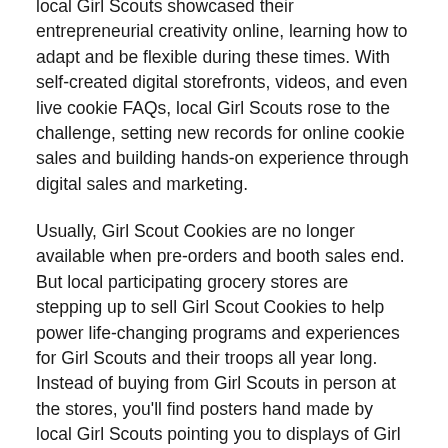local Girl Scouts showcased their entrepreneurial creativity online, learning how to adapt and be flexible during these times. With self-created digital storefronts, videos, and even live cookie FAQs, local Girl Scouts rose to the challenge, setting new records for online cookie sales and building hands-on experience through digital sales and marketing.
Usually, Girl Scout Cookies are no longer available when pre-orders and booth sales end. But local participating grocery stores are stepping up to sell Girl Scout Cookies to help power life-changing programs and experiences for Girl Scouts and their troops all year long. Instead of buying from Girl Scouts in person at the stores, you'll find posters hand made by local Girl Scouts pointing you to displays of Girl Scout cookies near the registers.
We're so grateful to our partners for this important support of youth leadership and entrepreneurship. First, we'd like to thank QFC, which was founded in Seattle over 60 years ago and is now headquartered in Bellevue, WA. We're thrilled to collaborate with this long-time local grocer this cookie season. Girl Scout Cookies are available at 56 QFC